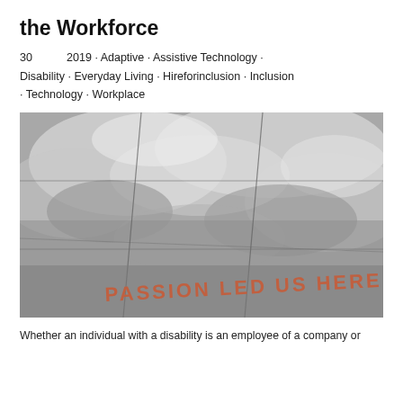the Workforce
30   2019 · Adaptive · Assistive Technology · Disability · Everyday Living · Hireforinclusion · Inclusion · Technology · Workplace
[Figure (photo): Photograph of a reflective glass building exterior showing clouds reflected in glass panels, with the text 'PASSION LED US HERE' written in copper/rose-gold lettering at the bottom.]
Whether an individual with a disability is an employee of a company or